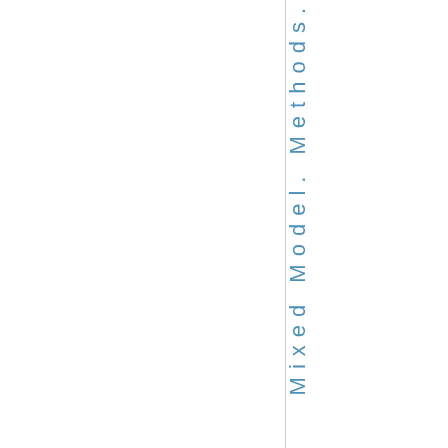[Figure (other): Blank white left panel separated by a vertical line from a right panel containing vertical rotated text reading 'Mixed Model. Methods.']
Mixed Model. Methods.